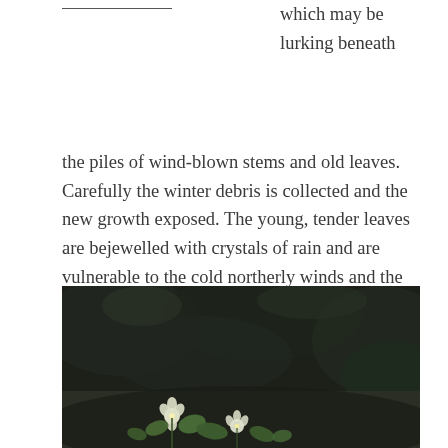which may be lurking beneath
the piles of wind-blown stems and old leaves. Carefully the winter debris is collected and the new growth exposed. The young, tender leaves are bejewelled with crystals of rain and are vulnerable to the cold northerly winds and the nip of a frosty morning. The power of the sun on a calm afternoon is just enough to stir a hibernating bumblebee, but they soon retreat as the garden has nothing to offer other than a few bedraggled primroses.
[Figure (photo): A close-up photograph of small white flowers with green leaves growing against a dark moss-covered stone or wall background.]